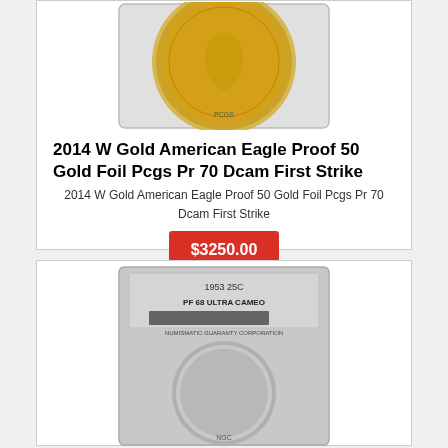[Figure (photo): Gold American Eagle coin in PCGS slab holder, showing gold coin with Lady Liberty design]
2014 W Gold American Eagle Proof 50 Gold Foil Pcgs Pr 70 Dcam First Strike
2014 W Gold American Eagle Proof 50 Gold Foil Pcgs Pr 70 Dcam First Strike
$3250.00
[Figure (photo): 1953 25C coin in NGC slab holder, PF 68 Ultra Cameo grade, showing silver coin]